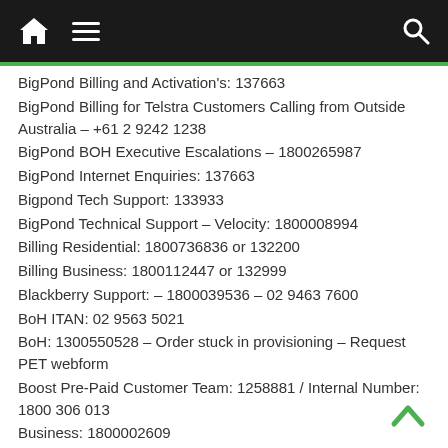Navigation bar with home, menu, and search icons
BigPond Billing and Activation's: 137663
BigPond Billing for Telstra Customers Calling from Outside Australia – +61 2 9242 1238
BigPond BOH Executive Escalations – 1800265987
BigPond Internet Enquiries: 137663
Bigpond Tech Support: 133933
BigPond Technical Support – Velocity: 1800008994
Billing Residential: 1800736836 or 132200
Billing Business: 1800112447 or 132999
Blackberry Support: – 1800039536 – 02 9463 7600
BoH ITAN: 02 9563 5021
BoH: 1300550528 – Order stuck in provisioning – Request PET webform
Boost Pre-Paid Customer Team: 1258881 / Internal Number: 1800 306 013
Business: 1800002609
Business Broadband – Billing: 1800733475
Business Broadband – Sales: 1800724836